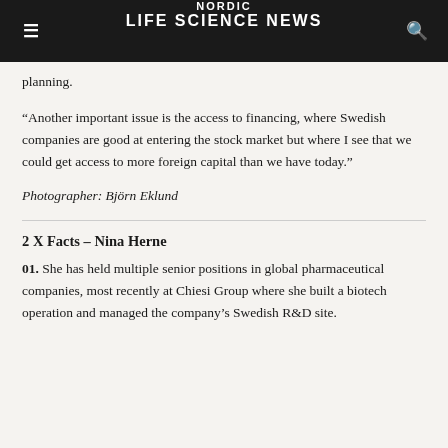NORDIC LIFE SCIENCE NEWS
planning.
“Another important issue is the access to financing, where Swedish companies are good at entering the stock market but where I see that we could get access to more foreign capital than we have today.”
Photographer: Björn Eklund
2 X Facts – Nina Herne
01. She has held multiple senior positions in global pharmaceutical companies, most recently at Chiesi Group where she built a biotech operation and managed the company’s Swedish R&D site.